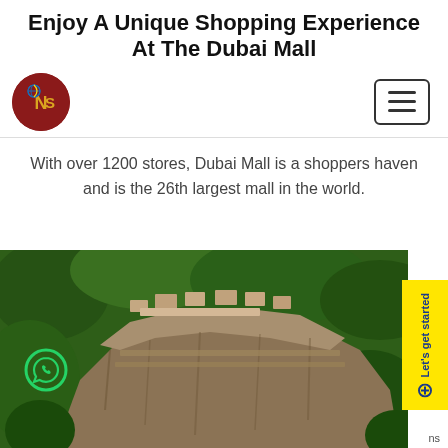Enjoy A Unique Shopping Experience At The Dubai Mall
[Figure (logo): NCS logo — dark red circle with NCS text and globe icon]
With over 1200 stores, Dubai Mall is a shoppers haven and is the 26th largest mall in the world.
[Figure (photo): Aerial photograph of Sigiriya rock fortress surrounded by dense green jungle forest]
[Figure (other): Yellow Let's get started tab with circle plus icon on right edge]
[Figure (other): WhatsApp icon circle in green at bottom left of photo]